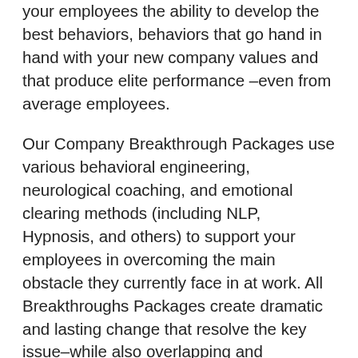your employees the ability to develop the best behaviors, behaviors that go hand in hand with your new company values and that produce elite performance –even from average employees.
Our Company Breakthrough Packages use various behavioral engineering, neurological coaching, and emotional clearing methods (including NLP, Hypnosis, and others) to support your employees in overcoming the main obstacle they currently face in at work. All Breakthroughs Packages create dramatic and lasting change that resolve the key issue–while also overlapping and dramatically improving many other areas of your employee's lives.